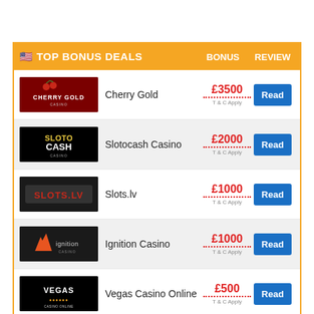| TOP BONUS DEALS | BONUS | REVIEW |
| --- | --- | --- |
| Cherry Gold | £3500 T&C Apply | Read |
| Slotocash Casino | £2000 T&C Apply | Read |
| Slots.lv | £1000 T&C Apply | Read |
| Ignition Casino | £1000 T&C Apply | Read |
| Vegas Casino Online | £500 T&C Apply | Read |
| CasinoMax | £3250 T&C Apply | Read |